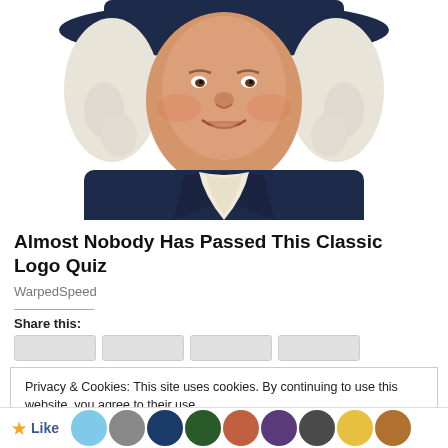[Figure (illustration): Illustrated portrait of a smiling Quaker-style man wearing a dark navy blue coat with white ruffled cravat and a wide-brimmed dark blue hat, with white curly hair — resembling the Quaker Oats mascot. The figure is cropped at the chest level against a white background.]
Almost Nobody Has Passed This Classic Logo Quiz
WarpedSpeed
Share this:
Privacy & Cookies: This site uses cookies. By continuing to use this website, you agree to their use.
To find out more, including how to control cookies, see here: Cookie Policy
Close and accept